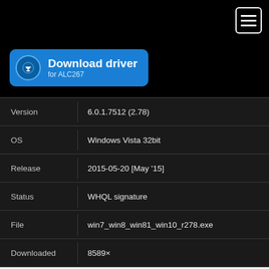[Figure (other): Download driver button for ALC267 with blue rounded rectangle background and circular download icon]
| Field | Value |
| --- | --- |
| Version | 6.0.1.7512 (2.78) |
| OS | Windows Vista 32bit |
| Release | 2015-05-20 [May '15] |
| Status | WHQL signature |
| File | win7_win8_win81_win10_r278.exe |
| Downloaded | 8589× |
Drivers for / Treiber für / Драйверы для / Ovladače pro / Sterowniki do
Realtek® High Definition Audio Function Driver
News:
1. Vista/Windows 7/Windows 8 WHQL Supporting: